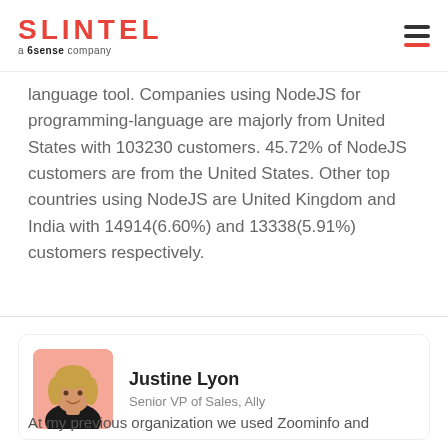SLINTEL a 6sense company
language tool. Companies using NodeJS for programming-language are majorly from United States with 103230 customers. 45.72% of NodeJS customers are from the United States. Other top countries using NodeJS are United Kingdom and India with 14914(6.60%) and 13338(5.91%) customers respectively.
[Figure (photo): Portrait photo of Justine Lyon with pink/salmon background]
Justine Lyon
Senior VP of Sales, Ally
At my previous organization we used Zoominfo and